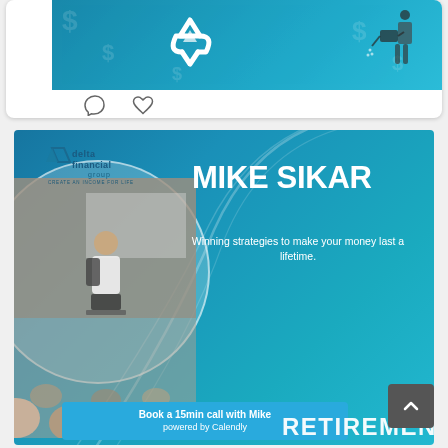[Figure (screenshot): Top portion of a social media post showing a teal promotional banner with a recycling symbol icon and a person with a watering can. Below are social interaction icons (comment and heart/like).]
[Figure (infographic): Delta Financial Group promotional card for Mike Sikar with text 'Winning strategies to make your money last a lifetime.' Shows Delta Financial Group logo, a circular photo of a man presenting at a podium to an audience, and a light blue CTA bar reading 'Book a 15min call with Mike powered by Calendly'. Bottom shows partial text 'RETIREMENT'.]
MIKE SIKAR
Winning strategies to make your money last a lifetime.
Book a 15min call with Mike powered by Calendly
RETIREMENT